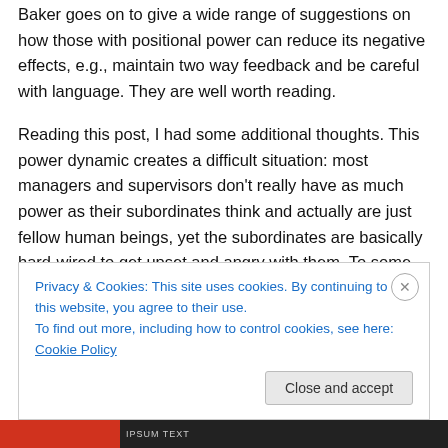Baker goes on to give a wide range of suggestions on how those with positional power can reduce its negative effects, e.g., maintain two way feedback and be careful with language. They are well worth reading.
Reading this post, I had some additional thoughts. This power dynamic creates a difficult situation: most managers and supervisors don't really have as much power as their subordinates think and actually are just fellow human beings, yet the subordinates are basically hard-wired to get upset and angry with them. To some extent, this just comes with the territory and management must...
Privacy & Cookies: This site uses cookies. By continuing to use this website, you agree to their use. To find out more, including how to control cookies, see here: Cookie Policy
Close and accept